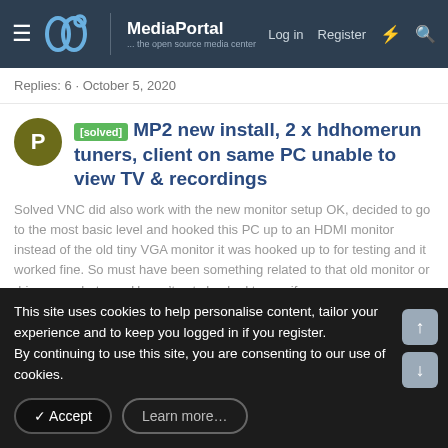MediaPortal — the open source media center | Log in | Register
Replies: 6 · October 5, 2020
[solved] MP2 new install, 2 x hdhomerun tuners, client on same PC unable to view TV & recordings
Solved VNC did also work with the new monitor setup OK, decided to go to the most basic level and hooked this PC up to an HDMI monitor instead of the old tiny VGA monitor it was hooked up to for testing and it worked fine. So must have been something related to that old monitor or drivers or whatever. Haven't yet checked to see if...
Prsa01 · Newcomers Forum
Replies: 8 · June 10, 2020
Share:
This site uses cookies to help personalise content, tailor your experience and to keep you logged in if you register.
By continuing to use this site, you are consenting to our use of cookies.